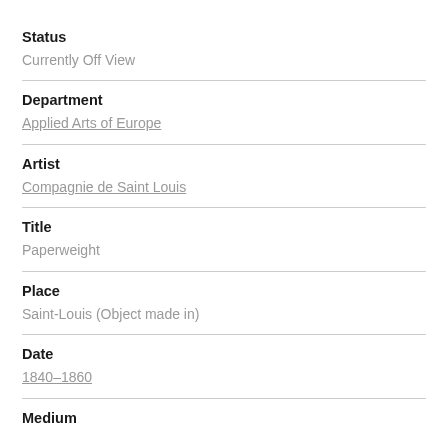Status
Currently Off View
Department
Applied Arts of Europe
Artist
Compagnie de Saint Louis
Title
Paperweight
Place
Saint-Louis (Object made in)
Date
1840–1860
Medium